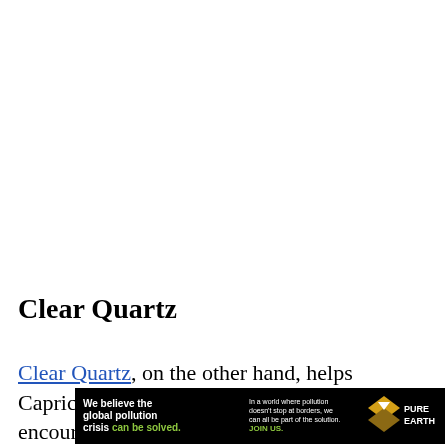Clear Quartz
Clear Quartz, on the other hand, helps Capricorn people achieve purity and clarity, encouraging them further and
[Figure (other): Advertisement banner for Pure Earth organization: 'We believe the global pollution crisis can be solved. In a world where pollution doesn't stop at borders, we can all be part of the solution. JOIN US.' with Pure Earth logo.]